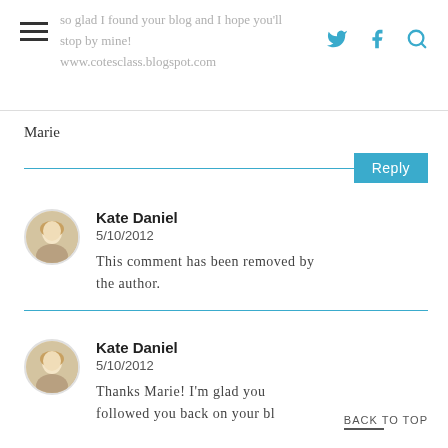so glad I found your blog and I hope you'll stop by mine! www.cotesclass.blogspot.com
Marie
Reply
Kate Daniel
5/10/2012
This comment has been removed by the author.
Kate Daniel
5/10/2012
Thanks Marie! I'm glad you followed you back on your bl...
BACK TO TOP